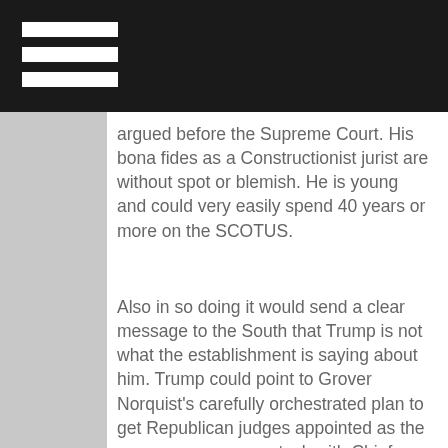[hamburger menu icon]
argued before the Supreme Court. His bona fides as a Constructionist jurist are without spot or blemish. He is young and could very easily spend 40 years or more on the SCOTUS.
Also in so doing it would send a clear message to the South that Trump is not what the establishment is saying about him. Trump could point to Grover Norquist's carefully orchestrated plan to get Republican judges appointed as the reason we are now stuck with Chief Justice